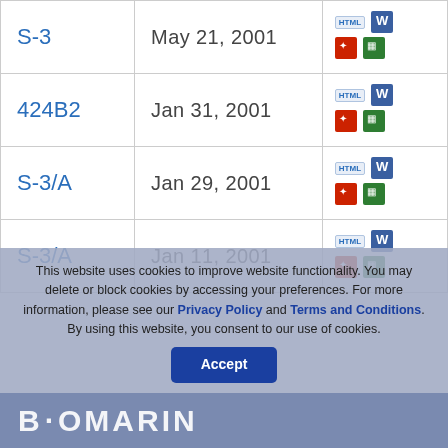| Form Type | Date Filed | Documents |
| --- | --- | --- |
| S-3 | May 21, 2001 | HTML | Word | PDF | XLS |
| 424B2 | Jan 31, 2001 | HTML | Word | PDF | XLS |
| S-3/A | Jan 29, 2001 | HTML | Word | PDF | XLS |
| S-3/A | Jan 11, 2001 | HTML | Word | PDF | XLS |
This website uses cookies to improve website functionality. You may delete or block cookies by accessing your preferences. For more information, please see our Privacy Policy and Terms and Conditions. By using this website, you consent to our use of cookies.
BIOMARIN